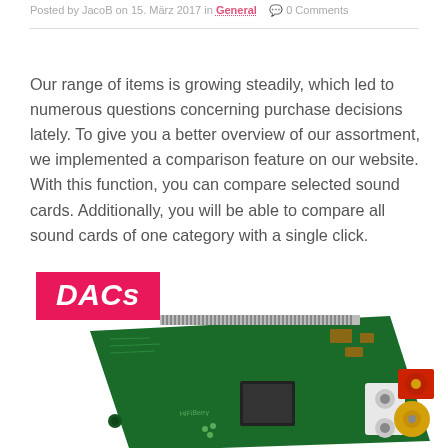Posted by JacoB on 15. März 2017 in General  0 Comments
Our range of items is growing steadily, which led to numerous questions concerning purchase decisions lately. To give you a better overview of our assortment, we implemented a comparison feature on our website. With this function, you can compare selected sound cards. Additionally, you will be able to compare all sound cards of one category with a single click.
[Figure (photo): HiFiBerry DAC circuit board (green PCB with gold RCA connectors and red component) with a hot-pink 'DACs' label overlay in the top-left corner]